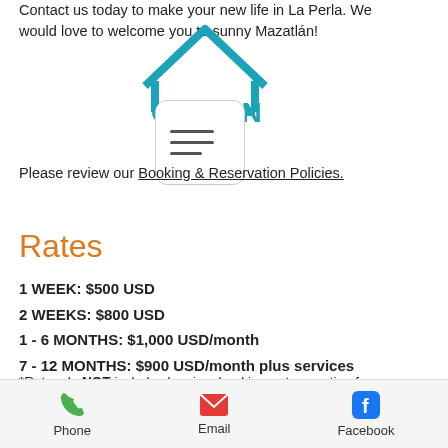Contact us today to make your new life in La Perla. We would love to welcome you to sunny Mazatlán!
[Figure (logo): OCCAN logo with house/roof icon in teal/blue above the word OCCAN in teal text]
[Figure (other): Mobile menu hamburger button (three horizontal lines) in a rounded rectangle]
Please review our Booking & Reservation Policies.
Rates
1 WEEK: $500 USD
2 WEEKS: $800 USD
1 - 6 MONTHS: $1,000 USD/month
7 - 12 MONTHS: $900 USD/month plus services
*Rates do NOT include cleaning, booking or transaction fees.
** Contact us for rates for Christmas
Phone   Email   Facebook